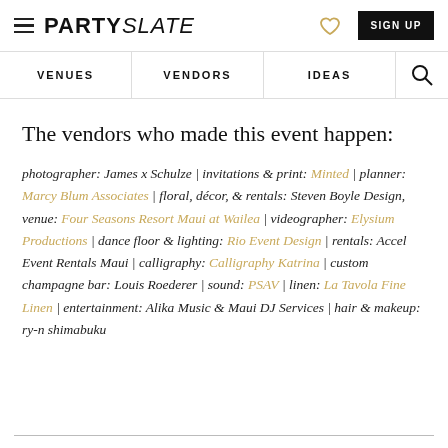PARTYSLATE — SIGN UP
VENUES | VENDORS | IDEAS
The vendors who made this event happen:
photographer: James x Schulze | invitations & print: Minted | planner: Marcy Blum Associates | floral, décor, & rentals: Steven Boyle Design, venue: Four Seasons Resort Maui at Wailea | videographer: Elysium Productions | dance floor & lighting: Rio Event Design | rentals: Accel Event Rentals Maui | calligraphy: Calligraphy Katrina | custom champagne bar: Louis Roederer | sound: PSAV | linen: La Tavola Fine Linen | entertainment: Alika Music & Maui DJ Services | hair & makeup: ry-n shimabuku